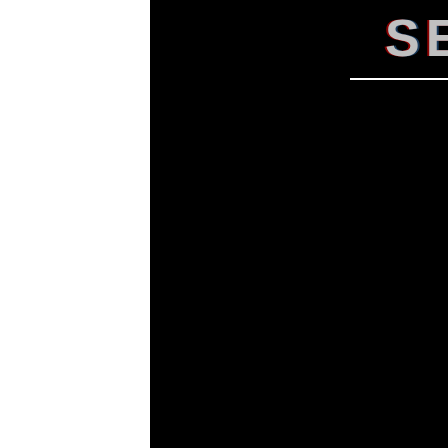SERVICES
[Figure (other): Black background page with the word SERVICES in large bold uppercase letters with a chromatic aberration/glitch effect (red and blue color shift). A horizontal white underline appears below the title on the left side, and a hamburger menu icon (three horizontal white lines) appears to the right of the underline. The rest of the page is entirely black.]